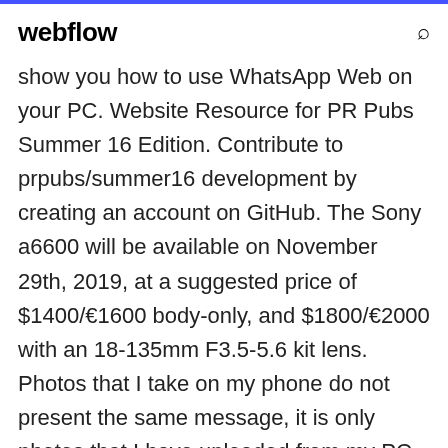webflow
show you how to use WhatsApp Web on your PC. Website Resource for PR Pubs Summer 16 Edition. Contribute to prpubs/summer16 development by creating an account on GitHub. The Sony a6600 will be available on November 29th, 2019, at a suggested price of $1400/€1600 body-only, and $1800/€2000 with an 18-135mm F3.5-5.6 kit lens. Photos that I take on my phone do not present the same message, it is only photos that I have uploaded from my PC. Hard to manage your data on portable devices or Windows or Mac? Learn the ways here by yourself. Notice Please follow post-commit follow up activity here: [#1846970] This issue is too long to be loading